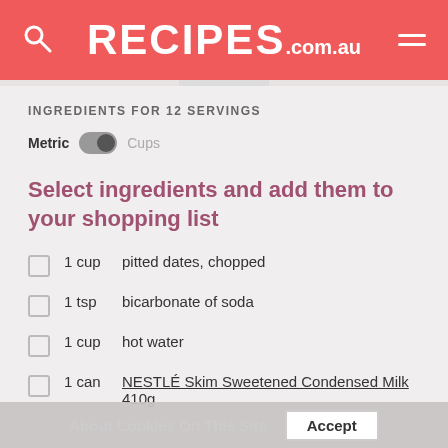RECIPES.com.au
INGREDIENTS FOR 12 SERVINGS
Metric  Cups
Select ingredients and add them to your shopping list
1 cup  pitted dates, chopped
1 tsp  bicarbonate of soda
1 cup  hot water
1 can  NESTLÉ Skim Sweetened Condensed Milk 410g
About Cookies On This Site  Accept